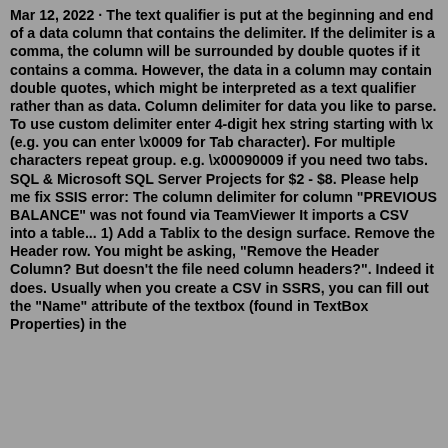Mar 12, 2022 · The text qualifier is put at the beginning and end of a data column that contains the delimiter. If the delimiter is a comma, the column will be surrounded by double quotes if it contains a comma. However, the data in a column may contain double quotes, which might be interpreted as a text qualifier rather than as data. Column delimiter for data you like to parse. To use custom delimiter enter 4-digit hex string starting with \x (e.g. you can enter \x0009 for Tab character). For multiple characters repeat group. e.g. \x00090009 if you need two tabs. SQL & Microsoft SQL Server Projects for $2 - $8. Please help me fix SSIS error: The column delimiter for column "PREVIOUS BALANCE" was not found via TeamViewer It imports a CSV into a table... 1) Add a Tablix to the design surface. Remove the Header row. You might be asking, "Remove the Header Column? But doesn't the file need column headers?". Indeed it does. Usually when you create a CSV in SSRS, you can fill out the "Name" attribute of the textbox (found in TextBox Properties) in the